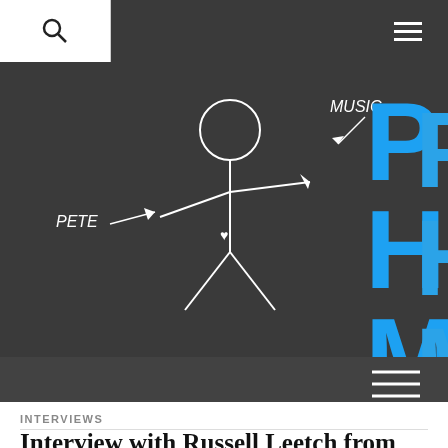[Figure (logo): Pete Hates Music website header logo with stick figure labeled PETE and MUSIC, and large blue text reading PETE HATES MUSIC on dark background]
INTERVIEWS
Interview with Russell Leetch from Editors
BY PETE · 2013/07/15
Here is a brief look at the stunning history of Birmingham, UK's Editors